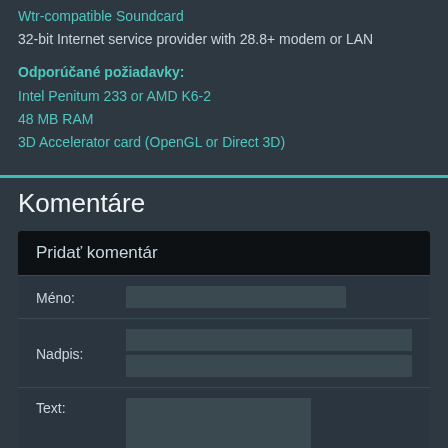Wtr-compatible Soundcard
32-bit Internet service provider with 28.8+ modem or LAN
Odporúčané požiadavky:
Intel Penitum 233 or AMD K6-2
48 MB RAM
3D Accelerator card (OpenGL or Direct 3D)
Komentáre
Pridať komentár
Méno:
Nadpis:
Text: